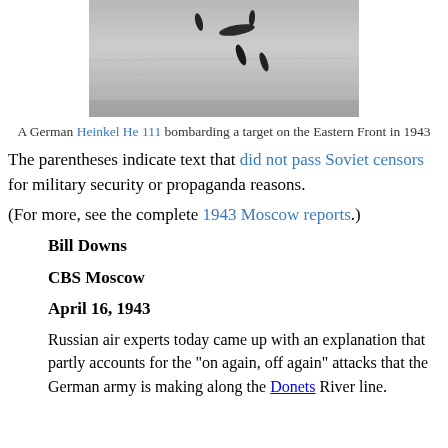[Figure (photo): Black and white aerial photograph showing a German Heinkel He 111 aircraft dropping bombs, photographed from above over what appears to be a body of water or terrain on the Eastern Front in 1943.]
A German Heinkel He 111 bombarding a target on the Eastern Front in 1943
The parentheses indicate text that did not pass Soviet censors for military security or propaganda reasons.
(For more, see the complete 1943 Moscow reports.)
Bill Downs
CBS Moscow
April 16, 1943
Russian air experts today came up with an explanation that partly accounts for the "on again, off again" attacks that the German army is making along the Donets River line.